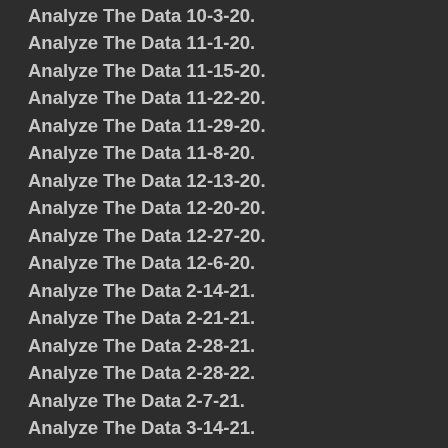Analyze The Data 10-3-20.
Analyze The Data 11-1-20.
Analyze The Data 11-15-20.
Analyze The Data 11-22-20.
Analyze The Data 11-29-20.
Analyze The Data 11-8-20.
Analyze The Data 12-13-20.
Analyze The Data 12-20-20.
Analyze The Data 12-27-20.
Analyze The Data 12-6-20.
Analyze The Data 2-14-21.
Analyze The Data 2-21-21.
Analyze The Data 2-28-21.
Analyze The Data 2-28-22.
Analyze The Data 2-7-21.
Analyze The Data 3-14-21.
Analyze The Data 3-14-22.
Analyze The Data 3-21-21.
Analyze The Data 3-21-22.
Analyze The Data 3-28-21.
Analyze The Data 3-28-22.
Analyze The Data 3-7-21.